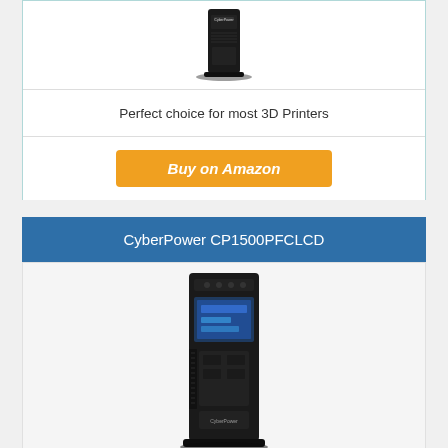[Figure (photo): CyberPower UPS unit - black tower style UPS device, top portion of product card]
Perfect choice for most 3D Printers
Buy on Amazon
CyberPower CP1500PFCLCD
[Figure (photo): CyberPower CP1500PFCLCD UPS unit - black tower UPS with LCD display panel on front]